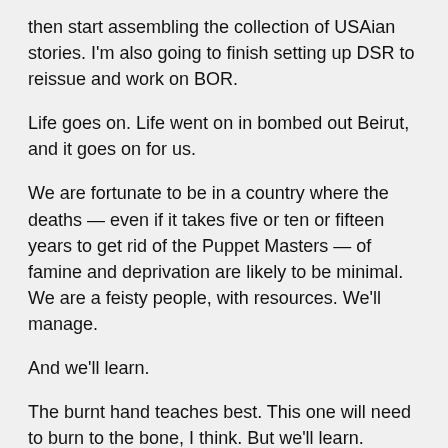then start assembling the collection of USAian stories. I'm also going to finish setting up DSR to reissue and work on BOR.
Life goes on. Life went on in bombed out Beirut, and it goes on for us.
We are fortunate to be in a country where the deaths — even if it takes five or ten or fifteen years to get rid of the Puppet Masters — of famine and deprivation are likely to be minimal. We are a feisty people, with resources. We'll manage.
And we'll learn.
The burnt hand teaches best. This one will need to burn to the bone, I think. But we'll learn.
May the Author in his mercy not make us taste the